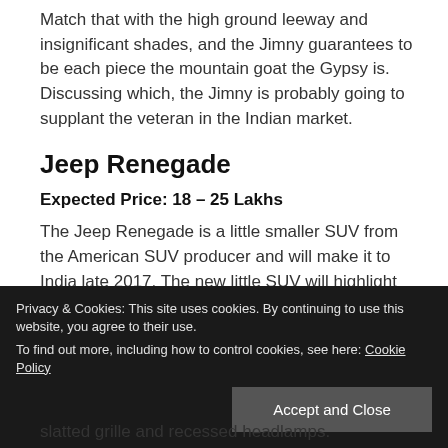Match that with the high ground leeway and insignificant shades, and the Jimny guarantees to be each piece the mountain goat the Gypsy is. Discussing which, the Jimny is probably going to supplant the veteran in the Indian market.
Jeep Renegade
Expected Price: 18 – 25 Lakhs
The Jeep Renegade is a little smaller SUV from the American SUV producer and will make it to India late 2017. The new little SUV will highlight both oil and diesel motors and ought to be evaluated around the Rs 18-25
Privacy & Cookies: This site uses cookies. By continuing to use this website, you agree to their use. To find out more, including how to control cookies, see here: Cookie Policy
slatted grille and recessed headlamps.